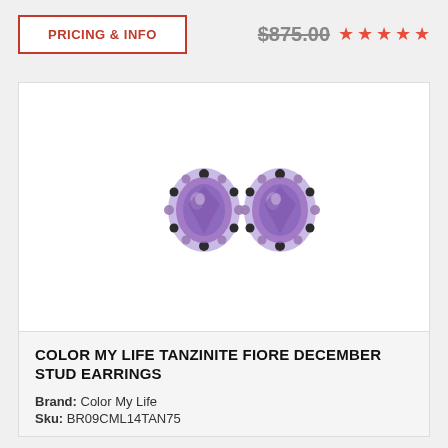PRICING & INFO
$875.00 ★★★★★
[Figure (photo): Two oval purple/amethyst tanzanite halo stud earrings with dark metallic prong settings on white background]
COLOR MY LIFE TANZINITE FIORE DECEMBER STUD EARRINGS
Brand: Color My Life
Sku: BR09CML14TAN75